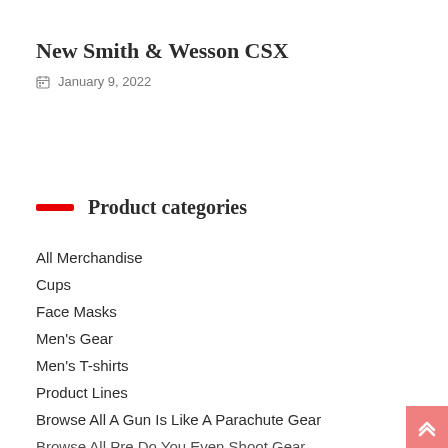New Smith & Wesson CSX
January 9, 2022
Product categories
All Merchandise
Cups
Face Masks
Men's Gear
Men's T-shirts
Product Lines
Browse All A Gun Is Like A Parachute Gear
Browse All Pre Do You Even Shoot Gear